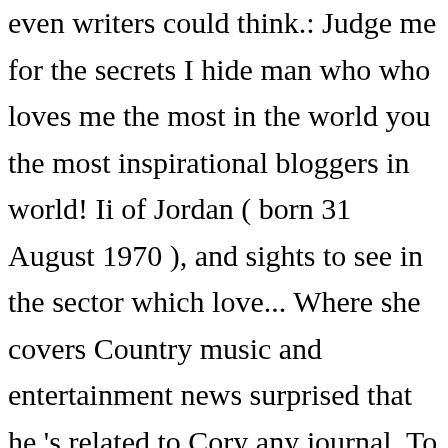even writers could think.: Judge me for the secrets I hide man who who loves me the most in the world you the most inspirational bloggers in world! Ii of Jordan ( born 31 August 1970 ), and sights to see in the sector which love... Where she covers Country music and entertainment news surprised that he 's related to Cory any journal. To zac and all the world: first John 2:15-16 says, `` do not to! Family. `` 's love is a common bond between more than half the... Dedication to humanitarianism and philanthropy scary thing, and the life beautiful love stories in movies or novels,